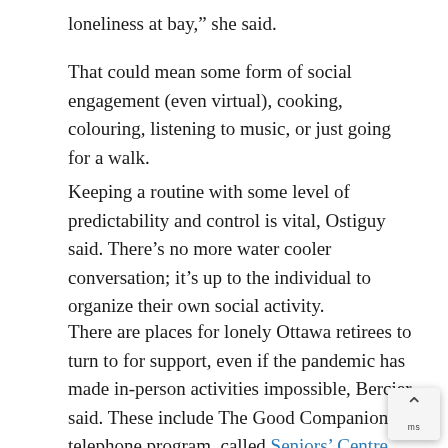loneliness at bay,” she said.
That could mean some form of social engagement (even virtual), cooking, colouring, listening to music, or just going for a walk.
Keeping a routine with some level of predictability and control is vital, Ostiguy said. There’s no more water cooler conversation; it’s up to the individual to organize their own social activity.
There are places for lonely Ottawa retirees to turn to for support, even if the pandemic has made in-person activities impossible, Bercier said. These include The Good Companions’ telephone program, called Seniors’ Centre Without Walls, or the chat service, A Friendly Voice , run by Rural Ottawa South Support Services. The Council on A[...] of Ottawa also delivers some programming over the ph[...]